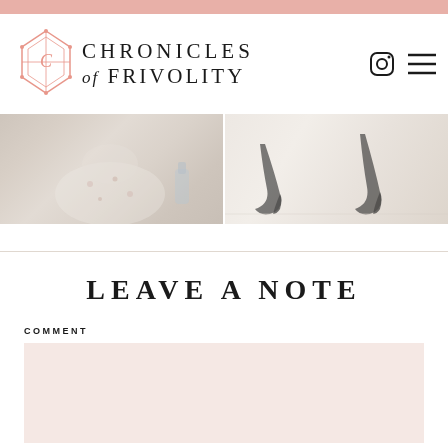[Figure (logo): Chronicles of Frivolity blog logo with decorative monogram icon and text]
[Figure (photo): Two fashion lifestyle photos side by side showing clothing and high heel shoes on light background]
LEAVE A NOTE
COMMENT
[Figure (screenshot): Pink/blush colored comment text input area]